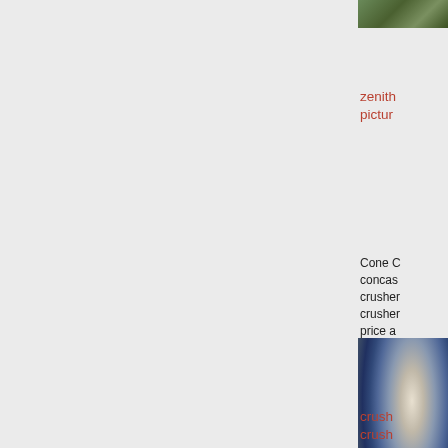[Figure (photo): Partial view of outdoor machinery or landscape scene, cropped at top-right corner]
zenith picture
Cone C concas crusher crusher price a machin zenithe designe higher
[Figure (photo): Close-up photo of a large blue/grey cone crusher machine]
crush crush